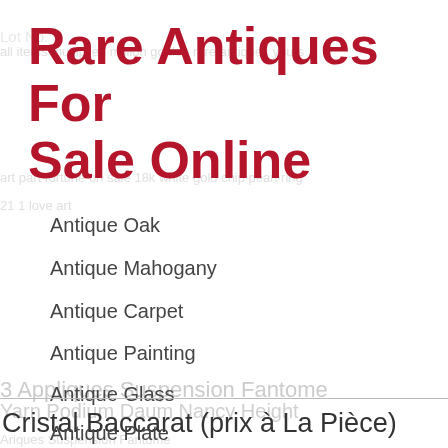Rare Antiques For Sale Online
Antique Oak
Antique Mahogany
Antique Carpet
Antique Painting
Antique Glass
Antique Plate
Cristal Baccarat (prix à La Pièce)